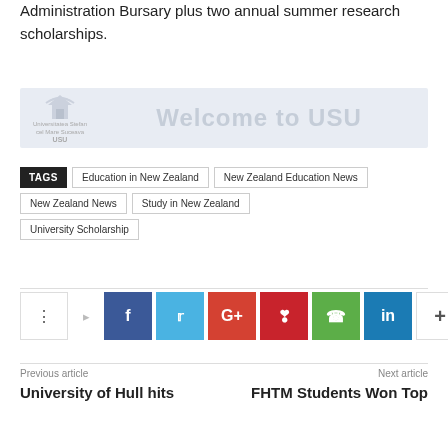Administration Bursary plus two annual summer research scholarships.
[Figure (illustration): Banner image with USU logo on left and 'Welcome to USU' text on blue-grey background]
TAGS: Education in New Zealand | New Zealand Education News | New Zealand News | Study in New Zealand | University Scholarship
Social share buttons: share, Facebook, Twitter, Google+, Pinterest, WhatsApp, LinkedIn, more
Previous article: University of Hull hits
Next article: FHTM Students Won Top